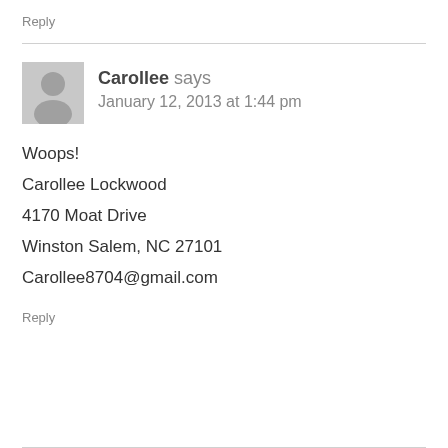Reply
Carollee says
January 12, 2013 at 1:44 pm
Woops!
Carollee Lockwood
4170 Moat Drive
Winston Salem, NC 27101
Carollee8704@gmail.com
Reply